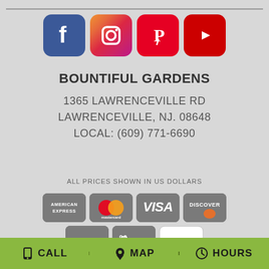[Figure (logo): Four social media icons: Facebook, Instagram, Pinterest, YouTube]
BOUNTIFUL GARDENS
1365 LAWRENCEVILLE RD
LAWRENCEVILLE, NJ. 08648
LOCAL: (609) 771-6690
ALL PRICES SHOWN IN US DOLLARS
[Figure (logo): Payment method logos: American Express, Mastercard, Visa, Discover, PayPal, Apple Pay, Google Pay]
CALL   MAP   HOURS